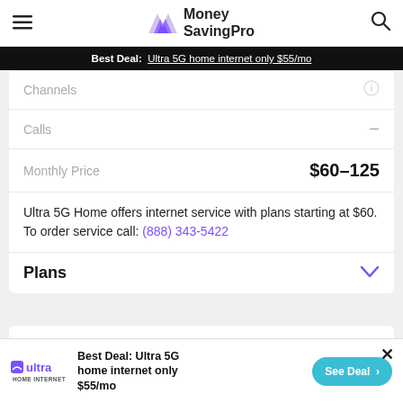Money SavingPro
Best Deal: Ultra 5G home internet only $55/mo
Channels
Calls  –
Monthly Price  $60–125
Ultra 5G Home offers internet service with plans starting at $60. To order service call: (888) 343-5422
Plans
Call to order now:
Best Deal: Ultra 5G home internet only $55/mo